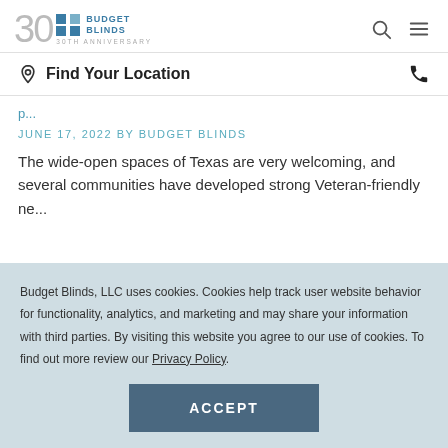Budget Blinds 30th Anniversary
Find Your Location
JUNE 17, 2022 BY BUDGET BLINDS
The wide-open spaces of Texas are very welcoming, and several communities have developed strong Veteran-friendly ne...
Budget Blinds, LLC uses cookies. Cookies help track user website behavior for functionality, analytics, and marketing and may share your information with third parties. By visiting this website you agree to our use of cookies. To find out more review our Privacy Policy.
ACCEPT